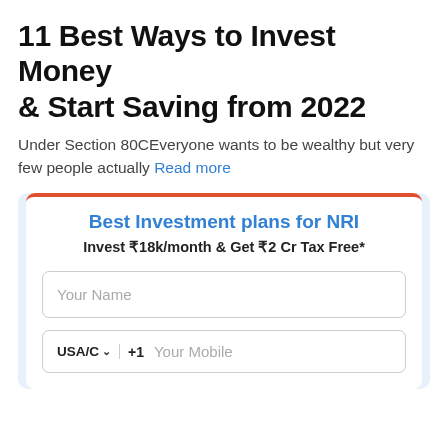11 Best Ways to Invest Money & Start Saving from 2022
Under Section 80CEveryone wants to be wealthy but very few people actually Read more
[Figure (other): Investment plan sign-up card for NRI with title 'Best Investment plans for NRI', subtitle 'Invest ₹18k/month & Get ₹2 Cr Tax Free*', a 'Your Name' text input field, and a phone number field with USA/C country selector showing +1 prefix and 'Your Mobile' placeholder.]